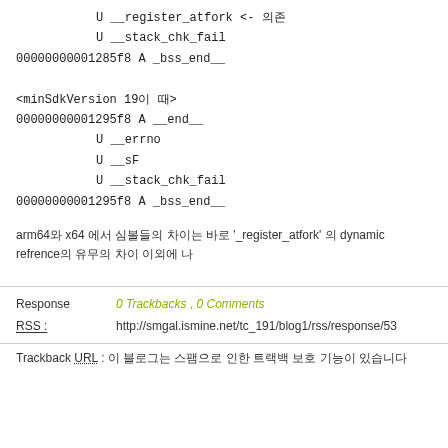U __register_atfork <- 의존
    U __stack_chk_fail
00000000001285f8 A _bss_end__

<minSdkVersion 19이 때>
00000000001295f8 A __end__
    U __errno
    U __sF
    U __stack_chk_fail
00000000001295f8 A _bss_end__
arm64와 x64 에서 심볼들의 차이는 바로 '_register_atfork' 의 dynamic refrence의 유무의 차이 이외에 나
Response   0 Trackbacks , 0 Comments
RSS :   http://smgal.ismine.net/tc_191/blog1/rss/response/53
Trackback URL : 이 블로그는 스팸으로 인한 트랙백 보호 기능이 있습니다